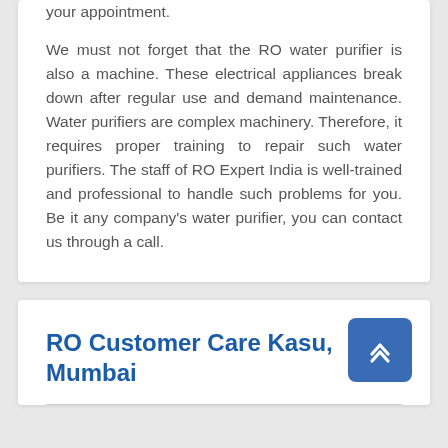your appointment.
We must not forget that the RO water purifier is also a machine. These electrical appliances break down after regular use and demand maintenance. Water purifiers are complex machinery. Therefore, it requires proper training to repair such water purifiers. The staff of RO Expert India is well-trained and professional to handle such problems for you. Be it any company's water purifier, you can contact us through a call.
RO Customer Care Kasu, Mumbai